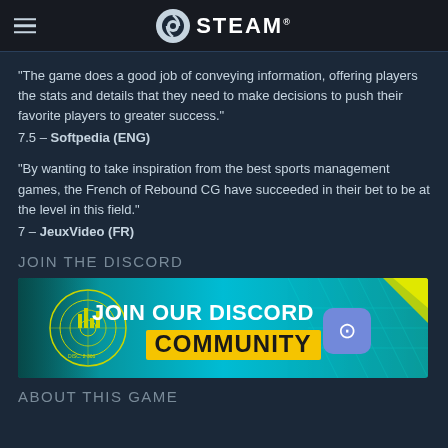STEAM
“The game does a good job of conveying information, offering players the stats and details that they need to make decisions to push their favorite players to greater success.”
7.5 – Softpedia (ENG)
“By wanting to take inspiration from the best sports management games, the French of Rebound CG have succeeded in their bet to be at the level in this field.”
7 – JeuxVideo (FR)
JOIN THE DISCORD
[Figure (infographic): Discord community banner with teal/cyan background, radar graphic on left, text 'JOIN OUR DISCORD COMMUNITY' in bold yellow and white, Discord logo icon in purple]
ABOUT THIS GAME